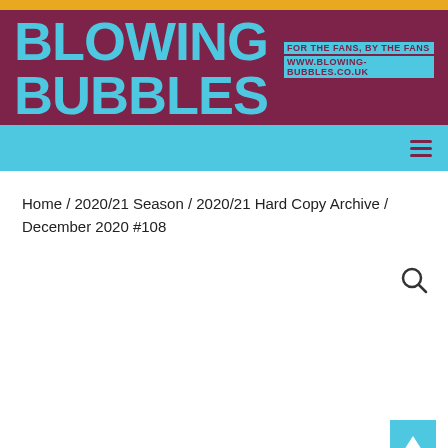[Figure (logo): Blowing Bubbles logo — claret/maroon background with large sky-blue bold text 'BLOWING BUBBLES' and taglines 'FOR THE FANS, BY THE FANS' and 'WWW.BLOWING-BUBBLES.CO.UK']
Home / 2020/21 Season / 2020/21 Hard Copy Archive / December 2020 #108